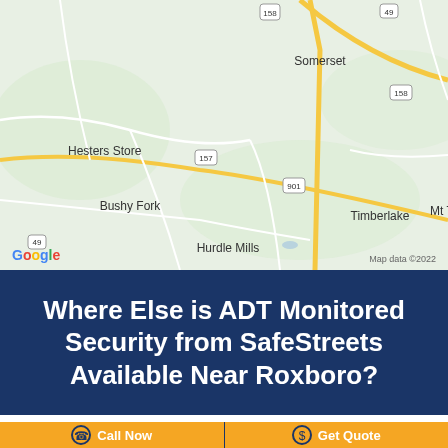[Figure (map): Google Maps screenshot showing area near Roxboro, NC with locations including Somerset, Hesters Store, Bushy Fork, Hurdle Mills, Timberlake, Mt Tirzah, and road markers 158, 49, 157, 901. Map data ©2022.]
Where Else is ADT Monitored Security from SafeStreets Available Near Roxboro?
Call Now
Get Quote